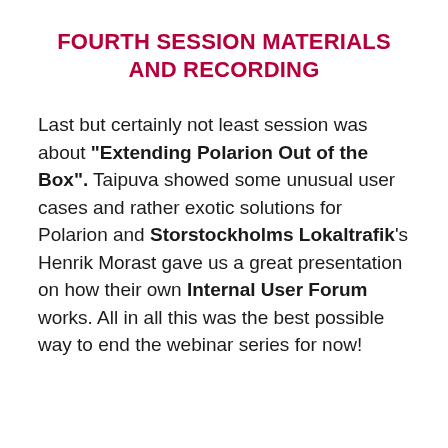FOURTH SESSION MATERIALS AND RECORDING
Last but certainly not least session was about "Extending Polarion Out of the Box". Taipuva showed some unusual user cases and rather exotic solutions for Polarion and Storstockholms Lokaltrafik's Henrik Morast gave us a great presentation on how their own Internal User Forum works. All in all this was the best possible way to end the webinar series for now!